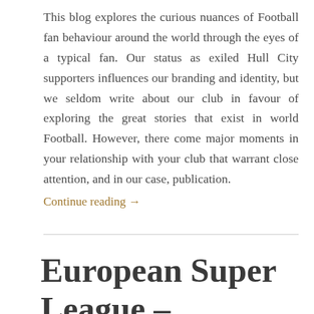This blog explores the curious nuances of Football fan behaviour around the world through the eyes of a typical fan. Our status as exiled Hull City supporters influences our branding and identity, but we seldom write about our club in favour of exploring the great stories that exist in world Football. However, there come major moments in your relationship with your club that warrant close attention, and in our case, publication.
Continue reading →
European Super League – Are There Any Good